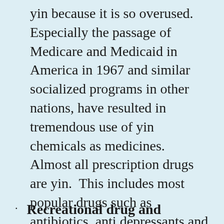yin because it is so overused.  Especially the passage of Medicare and Medicaid in America in 1967 and similar socialized programs in other nations, have resulted in tremendous use of yin chemicals as medicines.  Almost all prescription drugs are yin.  This includes most popular drugs such as antibiotics, anti depressants and many others.  Surgery and radiation therapy are also extremely yin.
Recreational drug and